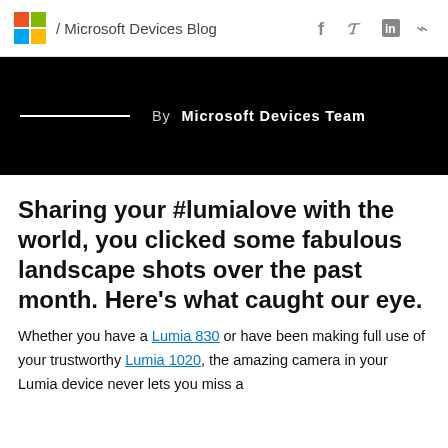/ Microsoft Devices Blog
By  Microsoft Devices Team
Sharing your #lumialove with the world, you clicked some fabulous landscape shots over the past month. Here's what caught our eye.
Whether you have a Lumia 830 or have been making full use of your trustworthy Lumia 1020, the amazing camera in your Lumia device never lets you miss a